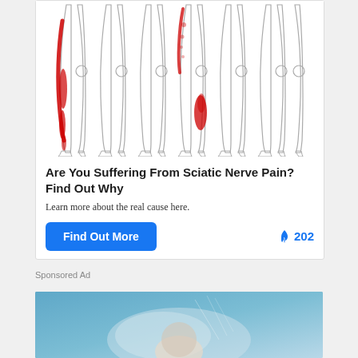[Figure (illustration): Medical illustration showing multiple pairs of human legs from the knee down, with red highlighted areas indicating sciatic nerve pain locations running down the leg]
Are You Suffering From Sciatic Nerve Pain? Find Out Why
Learn more about the real cause here.
Find Out More
🔥 202
Sponsored Ad
[Figure (photo): Photo of a person with light colored background, partially visible at bottom of page]